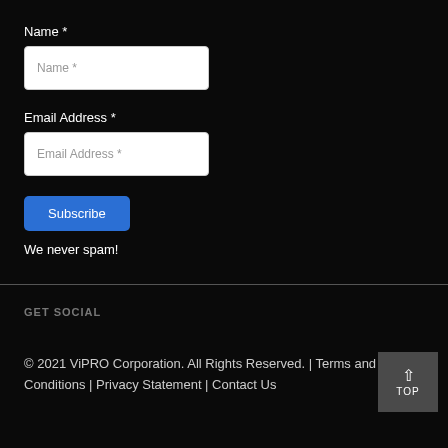Name *
[Figure (screenshot): Name input field with placeholder text 'Name *']
Email Address *
[Figure (screenshot): Email Address input field with placeholder text 'Email Address *']
[Figure (screenshot): Blue Subscribe button]
We never spam!
GET SOCIAL
© 2021 ViPRO Corporation. All Rights Reserved. | Terms and Conditions | Privacy Statement | Contact Us